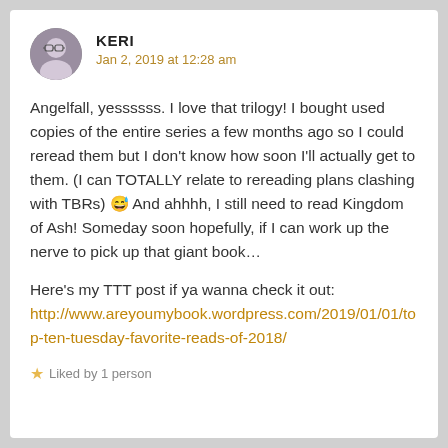KERI — Jan 2, 2019 at 12:28 am
Angelfall, yessssss. I love that trilogy! I bought used copies of the entire series a few months ago so I could reread them but I don't know how soon I'll actually get to them. (I can TOTALLY relate to rereading plans clashing with TBRs) 😅 And ahhhh, I still need to read Kingdom of Ash! Someday soon hopefully, if I can work up the nerve to pick up that giant book…
Here's my TTT post if ya wanna check it out: http://www.areyoumybook.wordpress.com/2019/01/01/top-ten-tuesday-favorite-reads-of-2018/
Liked by 1 person